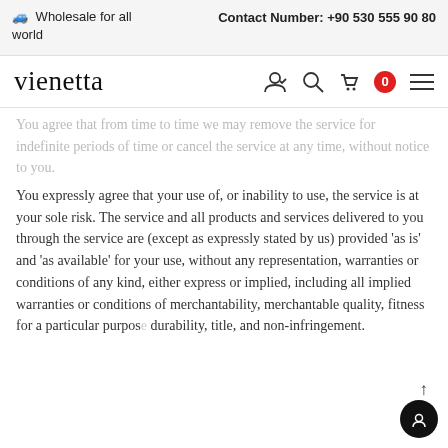🚌 Wholesale for all world   Contact Number: +90 530 555 90 80
[Figure (logo): Vienetta logo with navigation icons including user, search, basket (0), and menu]
You agree that from time to time we may remove the service for indefinite periods of time or cancel the service at any time, without notice to you.
You expressly agree that your use of, or inability to use, the service is at your sole risk. The service and all products and services delivered to you through the service are (except as expressly stated by us) provided 'as is' and 'as available' for your use, without any representation, warranties or conditions of any kind, either express or implied, including all implied warranties or conditions of merchantability, merchantable quality, fitness for a particular purpose durability, title, and non-infringement.